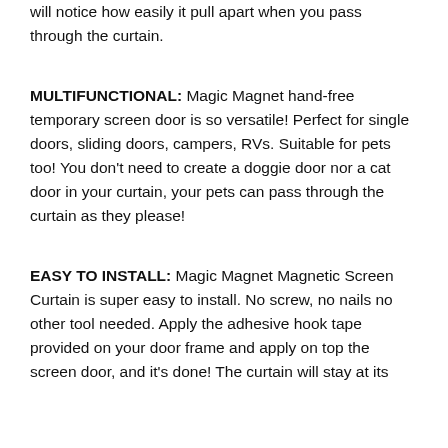will notice how easily it pull apart when you pass through the curtain.
MULTIFUNCTIONAL: Magic Magnet hand-free temporary screen door is so versatile! Perfect for single doors, sliding doors, campers, RVs. Suitable for pets too! You don’t need to create a doggie door nor a cat door in your curtain, your pets can pass through the curtain as they please!
EASY TO INSTALL: Magic Magnet Magnetic Screen Curtain is super easy to install. No screw, no nails no other tool needed. Apply the adhesive hook tape provided on your door frame and apply on top the screen door, and it’s done! The curtain will stay at its